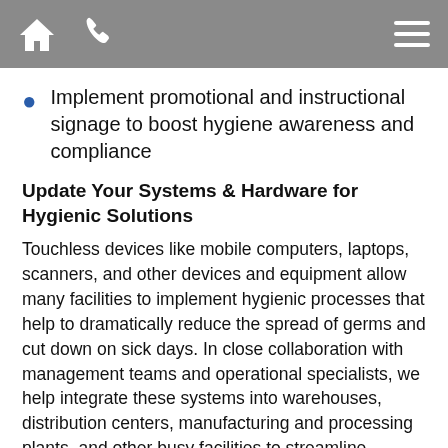[Navigation bar with home icon, phone icon, and menu icon]
Implement promotional and instructional signage to boost hygiene awareness and compliance
Update Your Systems & Hardware for Hygienic Solutions
Touchless devices like mobile computers, laptops, scanners, and other devices and equipment allow many facilities to implement hygienic processes that help to dramatically reduce the spread of germs and cut down on sick days. In close collaboration with management teams and operational specialists, we help integrate these systems into warehouses, distribution centers, manufacturing and processing plants, and other busy facilities to streamline operations and enhance overall hygiene and cleanliness.
HVAC systems can also...